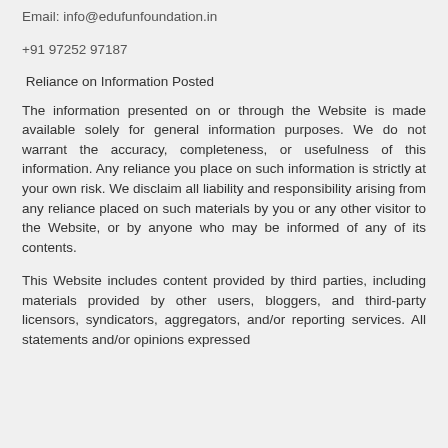Email: info@edufunfoundation.in
+91 97252 97187
Reliance on Information Posted
The information presented on or through the Website is made available solely for general information purposes. We do not warrant the accuracy, completeness, or usefulness of this information. Any reliance you place on such information is strictly at your own risk. We disclaim all liability and responsibility arising from any reliance placed on such materials by you or any other visitor to the Website, or by anyone who may be informed of any of its contents.
This Website includes content provided by third parties, including materials provided by other users, bloggers, and third-party licensors, syndicators, aggregators, and/or reporting services. All statements and/or opinions expressed